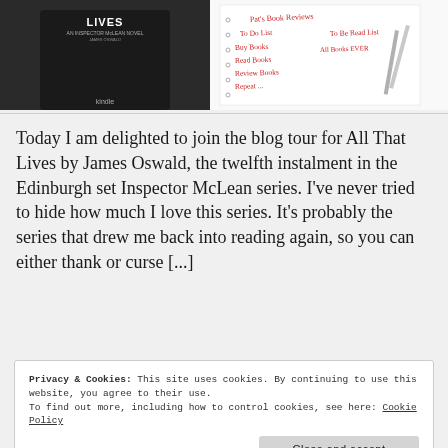[Figure (photo): Two images side by side: left shows a Kindle e-reader displaying a dark book cover titled 'LIVES - An Inspector McLean Novel', right shows a white notebook/whiteboard with handwritten red text listing book-related tasks (To Do List, To Be Read List, Buy Books, Read Books, Review Books, Repeat...) with pencils nearby.]
Today I am delighted to join the blog tour for All That Lives by James Oswald, the twelfth instalment in the Edinburgh set Inspector McLean series. I've never tried to hide how much I love this series. It's probably the series that drew me back into reading again, so you can either thank or curse [...]
Privacy & Cookies: This site uses cookies. By continuing to use this website, you agree to their use.
To find out more, including how to control cookies, see here: Cookie Policy
Close and accept